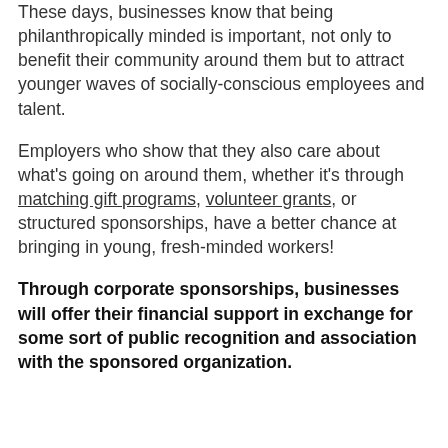These days, businesses know that being philanthropically minded is important, not only to benefit their community around them but to attract younger waves of socially-conscious employees and talent.
Employers who show that they also care about what's going on around them, whether it's through matching gift programs, volunteer grants, or structured sponsorships, have a better chance at bringing in young, fresh-minded workers!
Through corporate sponsorships, businesses will offer their financial support in exchange for some sort of public recognition and association with the sponsored organization.